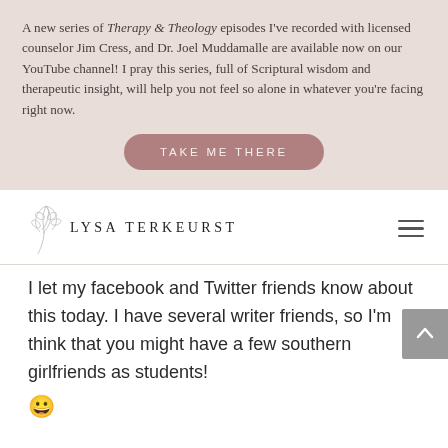A new series of Therapy & Theology episodes I've recorded with licensed counselor Jim Cress, and Dr. Joel Muddamalle are available now on our YouTube channel! I pray this series, full of Scriptural wisdom and therapeutic insight, will help you not feel so alone in whatever you're facing right now.
TAKE ME THERE
[Figure (logo): Lysa TerKeurst logo with decorative leaf/branch illustration and text LYSA TERKEURST]
I let my facebook and Twitter friends know about this today. I have several writer friends, so I'm think that you might have a few southern girlfriends as students! 😀